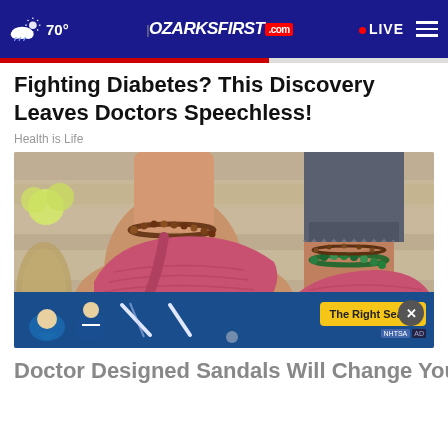70° | OZARKSFIRST.com | LIVE
Fighting Diabetes? This Discovery Leaves Doctors Speechless!
Health is Life
[Figure (photo): Close-up photo of two feet wearing red/pink orthopedic sandals with beaded anklets, wooden background]
[Figure (infographic): NHTSA advertisement banner: The Right Seat > with car seat safety icons]
Doctor Designed Sandals Will Change Your Life-